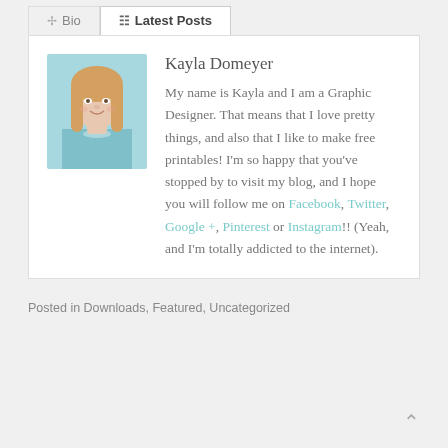Bio | Latest Posts
Kayla Domeyer
My name is Kayla and I am a Graphic Designer. That means that I love pretty things, and also that I like to make free printables! I'm so happy that you've stopped by to visit my blog, and I hope you will follow me on Facebook, Twitter, Google +, Pinterest or Instagram!! (Yeah, and I'm totally addicted to the internet).
Posted in Downloads, Featured, Uncategorized